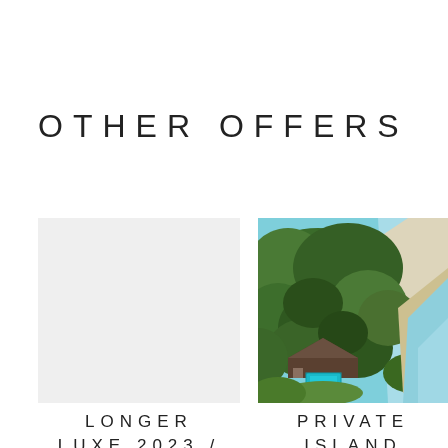OTHER OFFERS
[Figure (photo): Light gray placeholder rectangle for a travel/hotel image]
[Figure (photo): Aerial photograph of a tropical island with dense palm trees, a swimming pool, white sand beach, and turquoise ocean water]
LONGER
LUXE 2023 /
PRIVATE
ISLAND